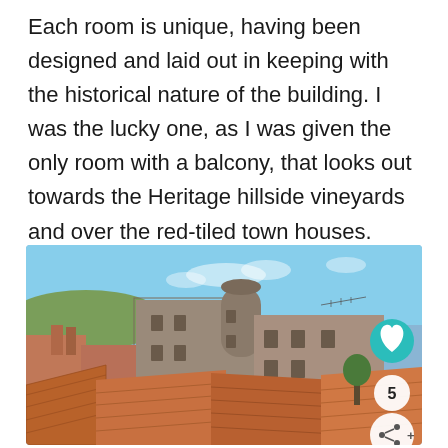Each room is unique, having been designed and laid out in keeping with the historical nature of the building. I was the lucky one, as I was given the only room with a balcony, that looks out towards the Heritage hillside vineyards and over the red-tiled town houses.
[Figure (photo): View from a balcony over red-tiled rooftops of a French town, with a large historic stone building with cylindrical tower in the centre, green hillside vineyards visible in the background under a blue sky. Heart icon, number 5, and share icon overlaid on the right side of the image.]